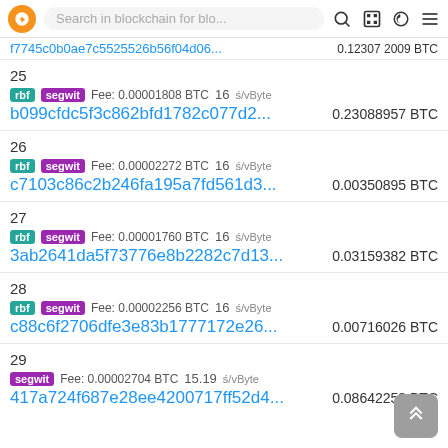Search in blockchain for blo...
f7745c0b0ae7c5525526b56f04d06... 0.12307 2009 BTC
25 | rbf segwit Fee: 0.00001808 BTC 16 s/vByte | b099cfdc5f3c862bfd1782c077d2... | 0.23088957 BTC
26 | rbf segwit Fee: 0.00002272 BTC 16 s/vByte | c7103c86c2b246fa195a7fd561d3... | 0.00350895 BTC
27 | rbf segwit Fee: 0.00001760 BTC 16 s/vByte | 3ab2641da5f73776e8b2282c7d13... | 0.03159382 BTC
28 | rbf segwit Fee: 0.00002256 BTC 16 s/vByte | c88c6f2706dfe3e83b1777172e26... | 0.00716026 BTC
29 | segwit Fee: 0.00002704 BTC 15.19 s/vByte | 417a724f687e28ee4200717ff52d4... | 0.08642253 BTC